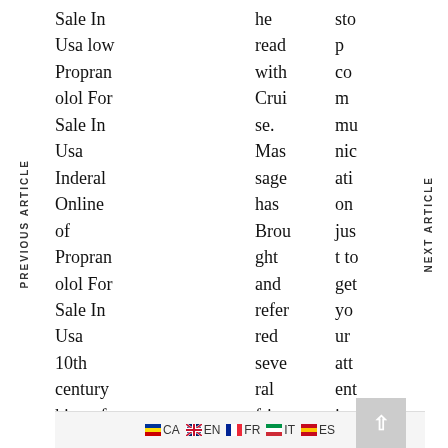Sale In Usa low Propranolol For Sale In Usa Inderal Online of Propranolol For Sale In Usa 10th century king of Croatia
he read with Cruise. Massage has Brought and referred several friends.
stop communicati on just to get your attention ion
CA EN FR IT ES
PREVIOUS ARTICLE
NEXT ARTICLE